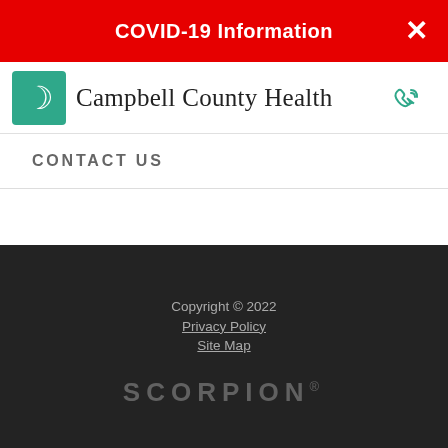COVID-19 Information
[Figure (logo): Campbell County Health logo with teal crescent C icon and organization name, plus phone icon on right]
CONTACT US
Copyright © 2022
Privacy Policy
Site Map
SCORPION®